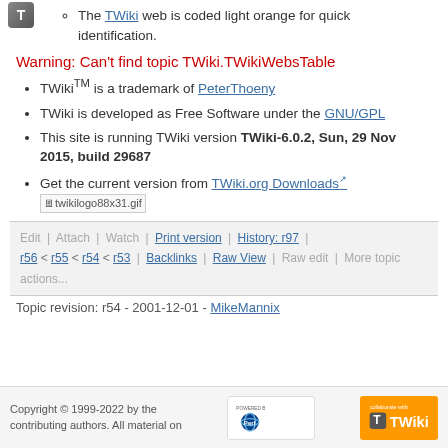The TWiki web is coded light orange for quick identification.
Warning: Can't find topic TWiki.TWikiWebsTable
TWikiTM is a trademark of PeterThoeny
TWiki is developed as Free Software under the GNU/GPL
This site is running TWiki version TWiki-6.0.2, Sun, 29 Nov 2015, build 29687
Get the current version from TWiki.org Downloads [image: twikilogo88x31.gif]
Edit | Attach | Watch | Print version | History: r97 | r56 < r55 < r54 < r53 | Backlinks | Raw View | Raw edit | More topic actions...
Topic revision: r54 - 2001-12-01 - MikeMannix
Copyright © 1999-2022 by the contributing authors. All material on